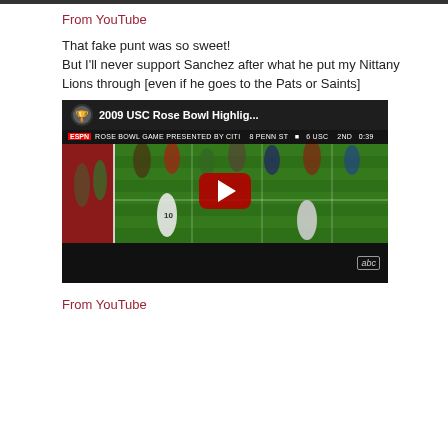From YouTube
That fake punt was so sweet!
But I'll never support Sanchez after what he put my Nittany Lions through [even if he goes to the Pats or Saints]
[Figure (screenshot): YouTube video embed showing 2009 USC Rose Bowl Highlights with a play button overlay. ESPN scorebar shows PENN ST vs USC, 2nd quarter 0:39. ABC logo visible in bottom right.]
From YouTube